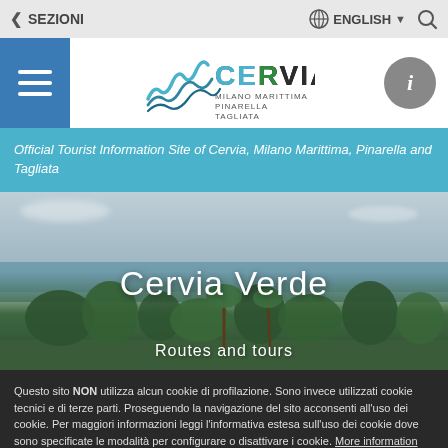< SEZIONI   ENGLISH
[Figure (logo): Cervia Milano Marittima Pinarella Tagliata official tourism logo with wave graphic]
Official Tourist Information Site of Cervia, Milano Marittima, Pinarella and Tagliata
[Figure (photo): Aerial scenic view of Cervia Verde - natural area with water, trees and vegetation]
Cervia Verde
Routes and tours
Questo sito NON utilizza alcun cookie di profilazione. Sono invece utilizzati cookie tecnici e di terze parti. Proseguendo la navigazione del sito acconsenti all'uso dei cookie. Per maggiori informazioni leggi l'informativa estesa sull'uso dei cookie dove sono specificate le modalità per configurare o disattivare i cookie. More information